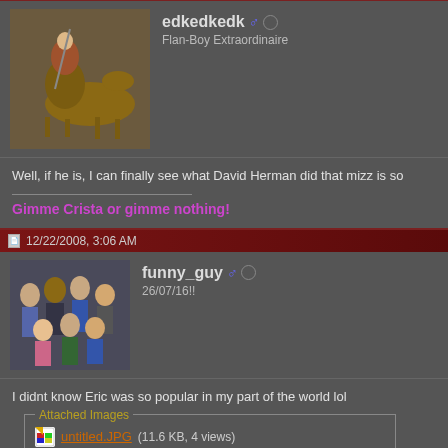[Figure (photo): Avatar of user edkedkedk showing a warrior on horseback illustration]
edkedkedk ♂ ● Flan-Boy Extraordinaire
Well, if he is, I can finally see what David Herman did that mizz is so
Gimme Crista or gimme nothing!
12/22/2008, 3:06 AM
[Figure (photo): Avatar of user funny_guy showing a group of people posing together]
funny_guy ♂ ● 26/07/16!!
I didnt know Eric was so popular in my part of the world lol
Attached Images
untitled.JPG (11.6 KB, 4 views)
--------"The real funny beneath the funny"--------